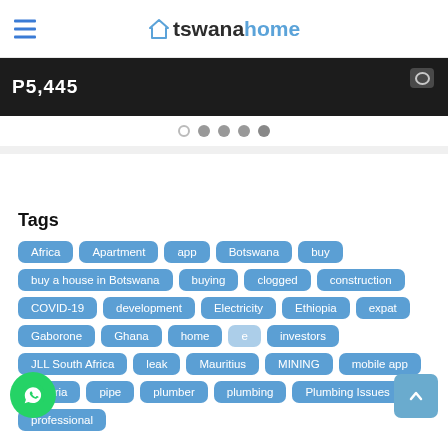tswanahome
[Figure (screenshot): Dark banner image showing price label P5,445 with camera icon on right]
[Figure (infographic): Carousel pagination dots: one open circle followed by four filled circles]
Tags
Africa
Apartment
app
Botswana
buy
buy a house in Botswana
buying
clogged
construction
COVID-19
development
Electricity
Ethiopia
expat
Gaborone
Ghana
home
investors
JLL South Africa
leak
Mauritius
MINING
mobile app
Nigeria
pipe
plumber
plumbing
Plumbing Issues
professional